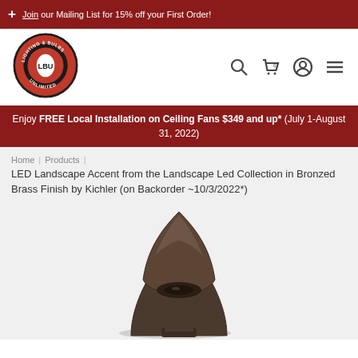Join our Mailing List for 15% off your First Order!
[Figure (logo): LBU Lighting & Bulbs Unlimited circular red and black logo]
Enjoy FREE Local Installation on Ceiling Fans $349 and up* (July 1-August 31, 2022)
Home | Products | LED Landscape Accent from the Landscape Led Collection in Bronzed Brass Finish by Kichler (on Backorder ~10/3/2022*)
[Figure (photo): Product photo of LED Landscape Accent light in Bronzed Brass finish, showing the top curved metallic fixture against white background]